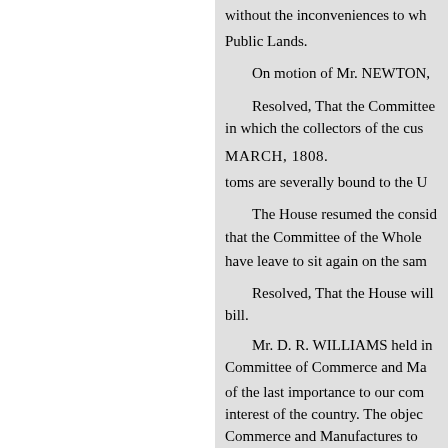without the inconveniences to wh
Public Lands.
On motion of Mr. NEWTON,
Resolved, That the Committee in which the collectors of the cus
MARCH, 1808.
toms are severally bound to the U
The House resumed the consid that the Committee of the Whole have leave to sit again on the sam
Resolved, That the House will bill.
Mr. D. R. WILLIAMS held in Committee of Commerce and Ma of the last importance to our com interest of the country. The objec Commerce and Manufactures to
Resolved, That the Committee expediency of prohibiting the en vessel of the United States is not by.